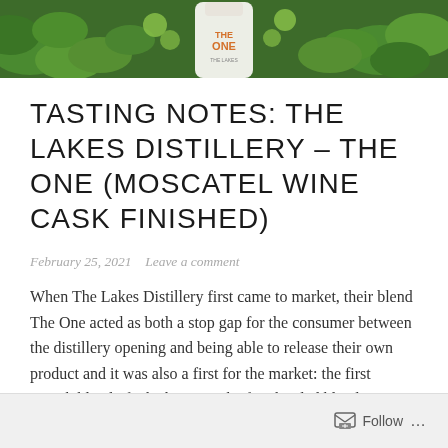[Figure (photo): Hero image showing The One whisky bottle surrounded by green plants and foliage]
TASTING NOTES: THE LAKES DISTILLERY – THE ONE (MOSCATEL WINE CASK FINISHED)
February 25, 2021   Leave a comment
When The Lakes Distillery first came to market, their blend The One acted as both a stop gap for the consumer between the distillery opening and being able to release their own product and it was also a first for the market: the first British blend of whiskies, i.e. the first bottled blend featuring a … Continue reading
Follow …